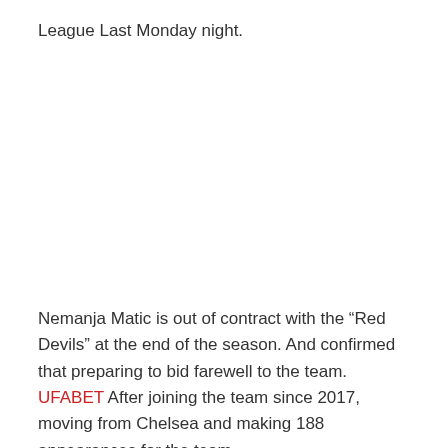League Last Monday night.
Nemanja Matic is out of contract with the “Red Devils” at the end of the season. And confirmed that preparing to bid farewell to the team. UFABET After joining the team since 2017, moving from Chelsea and making 188 appearances for the team.